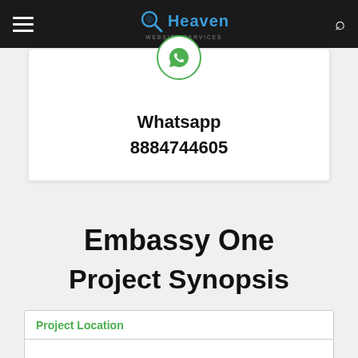7th Heaven — website services navigation bar
[Figure (logo): WhatsApp icon in green circle]
Whatsapp
8884744605
Embassy One
Project Synopsis
| Project Location |
| --- |